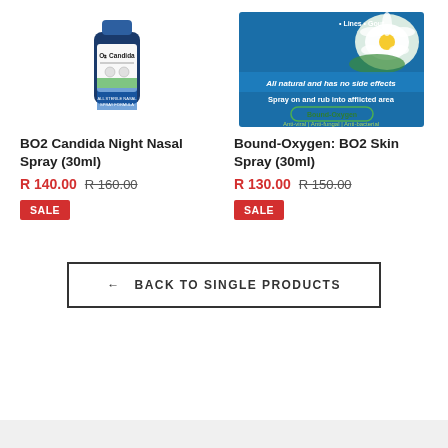[Figure (photo): Product photo of BO2 Candida Night Nasal Spray bottle (30ml) - blue bottle with label]
[Figure (photo): Product image of Bound-Oxygen BO2 Skin Spray showing flower, text about Lines and Gout, All natural and has no side effects, Spray on and rub into afflicted area, Bound-Oxygen logo, Anti-viral | Anti-fungal | Anti-bacterial]
BO2 Candida Night Nasal Spray (30ml)
Bound-Oxygen: BO2 Skin Spray (30ml)
R 140.00  R 160.00
R 130.00  R 150.00
SALE
SALE
← BACK TO SINGLE PRODUCTS